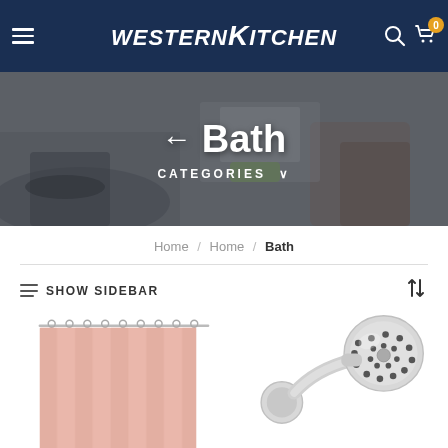WesternKitchen
← Bath
CATEGORIES ∨
Home / Home / Bath
≡ SHOW SIDEBAR
[Figure (photo): Pink shower curtain hanging from curtain rod]
[Figure (photo): Chrome handheld shower head with hose and wall mount bracket]